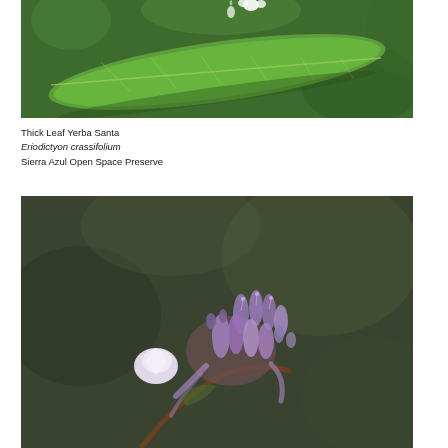[Figure (photo): Close-up photograph of a large green leaf from Thick Leaf Yerba Santa (Eriodictyon crassifolium), showing leaf texture and veins, with a small white flower visible at the top, against a blurred green background.]
Thick Leaf Yerba Santa
Eriodictyon crassifolium
Sierra Azul Open Space Preserve
[Figure (photo): Close-up photograph of a cluster of small purple and white tubular flowers of Thick Leaf Yerba Santa (Eriodictyon crassifolium), with buds and a brown stem, against a blurred dark olive-green background.]